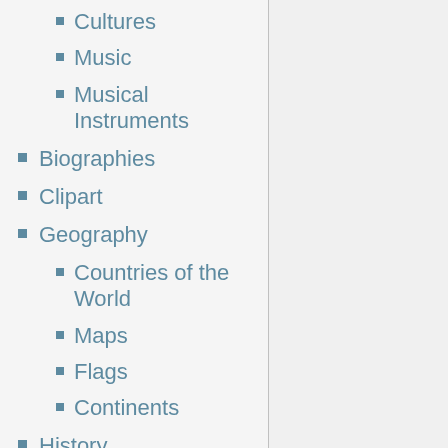Cultures
Music
Musical Instruments
Biographies
Clipart
Geography
Countries of the World
Maps
Flags
Continents
History
Ancient Civilizations
Industrial Revolution
Middle Ages
Prehistory
Renaissance